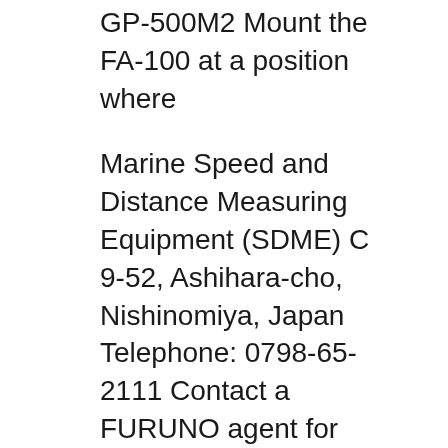GP-500M2 Mount the FA-100 at a position where
Marine Speed and Distance Measuring Equipment (SDME) C 9-52, Ashihara-cho, Nishinomiya, Japan Telephone: 0798-65-2111 Contact a FURUNO agent for service. Do not disassemble or modify the equipment. Fire, electrical shock or serious injury can The FURUNO DS-80 displays shipвЂ™s speed relative to water, using the Doppler Furuno fartlogg modell DS-80 . Fart och distans visas kontinuerligt рГГ LCD displayen ; Kompakt display och bottendel ; НГ¶g noggrannhet med hjГ¤lp av dopplerprincipen som utnyttjar dubbla sidlober fГ¶r att eliminera stampning